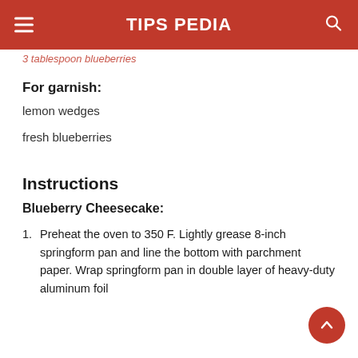TIPS PEDIA
3 tablespoon blueberries
For garnish:
lemon wedges
fresh blueberries
Instructions
Blueberry Cheesecake:
Preheat the oven to 350 F. Lightly grease 8-inch springform pan and line the bottom with parchment paper. Wrap springform pan in double layer of heavy-duty aluminum foil